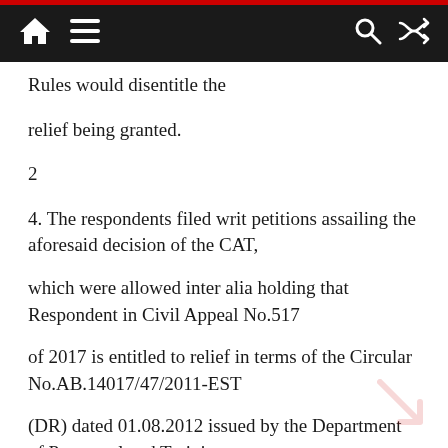Home Menu Search Shuffle
Rules would disentitle the
relief being granted.
2
4. The respondents filed writ petitions assailing the aforesaid decision of the CAT,
which were allowed inter alia holding that Respondent in Civil Appeal No.517
of 2017 is entitled to relief in terms of the Circular No.AB.14017/47/2011-EST
(DR) dated 01.08.2012 issued by the Department of Personnel and Training
(Do PT) which facilit...